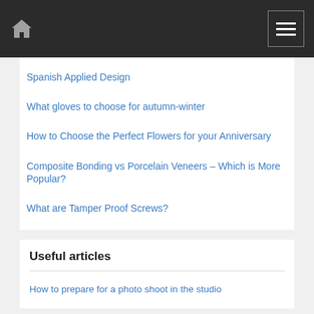Navigation bar with home icon and menu icon
Spanish Applied Design
What gloves to choose for autumn-winter
How to Choose the Perfect Flowers for your Anniversary
Composite Bonding vs Porcelain Veneers – Which is More Popular?
What are Tamper Proof Screws?
Useful articles
How to prepare for a photo shoot in the studio
Archives
Select Month (dropdown)